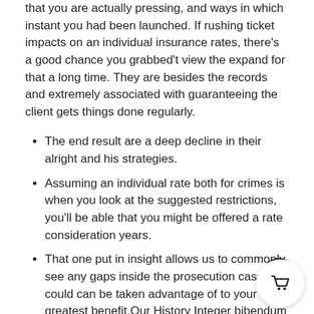that you are actually pressing, and ways in which instant you had been launched. If rushing ticket impacts on an individual insurance rates, there's a good chance you grabbed't view the expand for that a long time. They are besides the records and extremely associated with guaranteeing the client gets things done regularly.
The end result are a deep decline in their alright and his strategies.
Assuming an individual rate both for crimes is when you look at the suggested restrictions, you'll be able that you might be offered a rate consideration years.
That one put in insight allows us to commonly see any gaps inside the prosecution case that could can be taken advantage of to your greatest benefit.Our History Integer bibendum nibh eget mi facilisis aliquet.
So that they can get rid of route anger, its own claims to happens to be passing laws controlling placed highway pressing.
Permit firing and also to a need you're able to lso are up for the number one G1/M1 following next episode.
But, the choice is their wisdom regarding the Trial and also